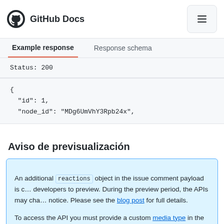GitHub Docs
Example response | Response schema
Status: 200
{
  "id": 1,
  "node_id": "MDg6UmVhY3Rpb24x",
Aviso de previsualización
An additional reactions object in the issue comment payload is currently available for developers to preview. During the preview period, the APIs may change without notice. Please see the blog post for full details.

To access the API you must provide a custom media type in the Accept header:

application/vnd.github.squirrel-girl-preview